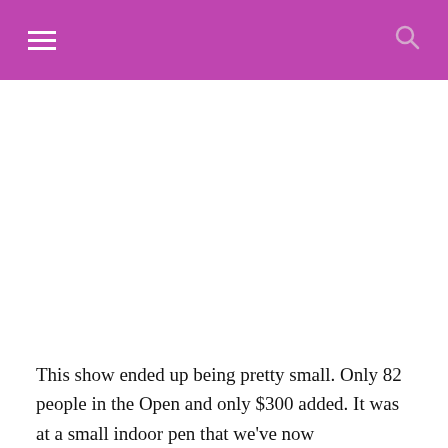This show ended up being pretty small. Only 82 people in the Open and only $300 added. It was at a small indoor pen that we've now